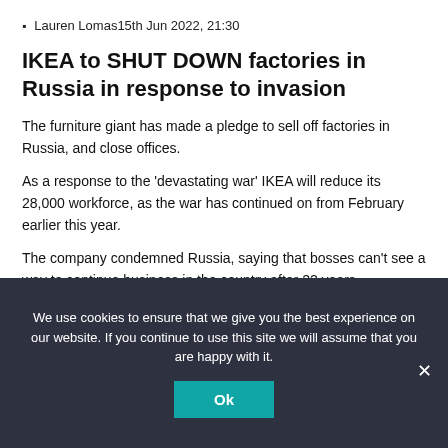Lauren Lomas15th Jun 2022, 21:30
IKEA to SHUT DOWN factories in Russia in response to invasion
The furniture giant has made a pledge to sell off factories in Russia, and close offices.
As a response to the 'devastating war' IKEA will reduce its 28,000 workforce, as the war has continued on from February earlier this year.
The company condemned Russia, saying that bosses can't see a way to continue business in the country after 22 years.
We use cookies to ensure that we give you the best experience on our website. If you continue to use this site we will assume that you are happy with it.